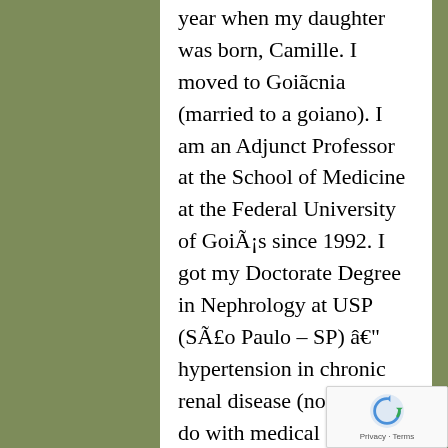year when my daughter was born, Camille. I moved to Goiânia (married to a goiano). I am an Adjunct Professor at the School of Medicine at the Federal University of Goiás since 1992. I got my Doctorate Degree in Nephrology at USP (São Paulo – SP) â€" hypertension in chronic renal disease (nothing to do with medical education) and finished in 2000. After my return to UFG, I began to get involved in medical education, by coordinating the Clinical Medicine discipline, and I am presently coordinating the internship program for 2 years now
[Figure (other): reCAPTCHA badge with Privacy and Terms links]